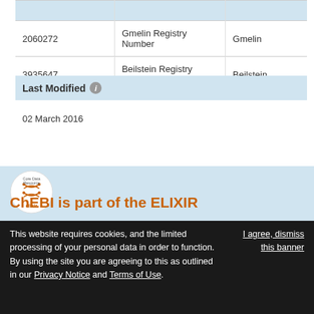|  |  |  |
| --- | --- | --- |
| 2060272 | Gmelin Registry Number | Gmelin |
| 3935647 | Beilstein Registry Number | Beilstein |
Last Modified
02 March 2016
[Figure (logo): ELIXIR Core Data Resource logo — circular white badge with orange ELIXIR text and double helix motif]
ChEBI is part of the ELIXIR
This website requires cookies, and the limited processing of your personal data in order to function. By using the site you are agreeing to this as outlined in our Privacy Notice and Terms of Use.
I agree, dismiss this banner